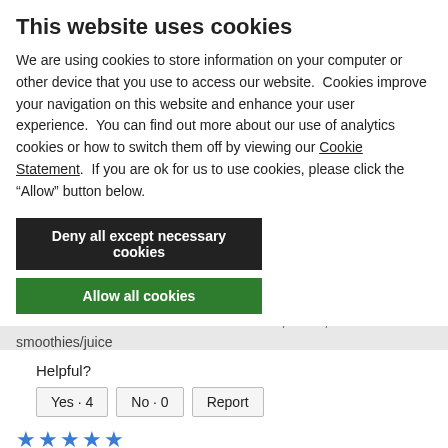This website uses cookies
We are using cookies to store information on your computer or other device that you use to access our website. Cookies improve your navigation on this website and enhance your user experience. You can find out more about our use of analytics cookies or how to switch them off by viewing our Cookie Statement. If you are ok for us to use cookies, please click the “Allow” button below.
Deny all except necessary cookies
Allow all cookies
Show details ⌄
Purchase Motivation: It’s the best blender; Other; To make smoothies/juice
Helpful?
Yes · 4
No · 0
Report
[Figure (other): Five blue star rating icons]
steveenny · a year ago